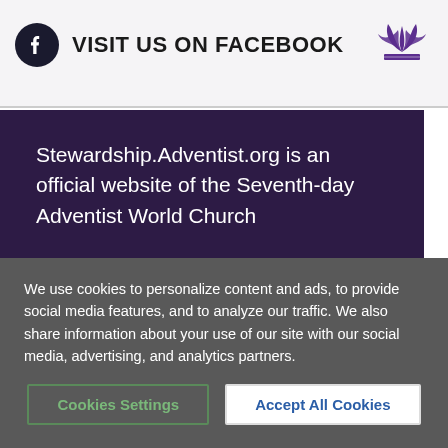VISIT US ON FACEBOOK
Stewardship.Adventist.org is an official website of the Seventh-day Adventist World Church
FACEBOOK
INSTAGRAM
TWITTER
YOUTUBE
VIMEO
We use cookies to personalize content and ads, to provide social media features, and to analyze our traffic. We also share information about your use of our site with our social media, advertising, and analytics partners.
Cookies Settings | Accept All Cookies